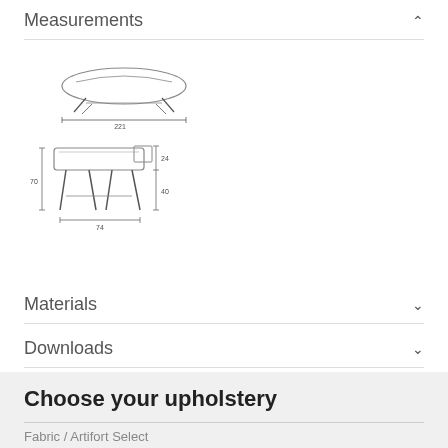Measurements
[Figure (engineering-diagram): Top and side view technical drawings of a stool/ottoman with dimensions: 221 (width top view), and side view showing 70 (height), 40 (seat height), 74 (width), 24 (depth)]
Materials
Downloads
Choose your upholstery
Fabric / Artifort Select